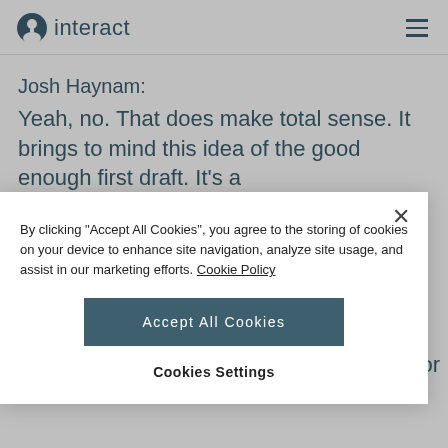interact
Josh Haynam:
Yeah, no. That does make total sense. It brings to mind this idea of the good enough first draft. It's a
By clicking "Accept All Cookies", you agree to the storing of cookies on your device to enhance site navigation, analyze site usage, and assist in our marketing efforts. Cookie Policy
Accept All Cookies
Cookies Settings